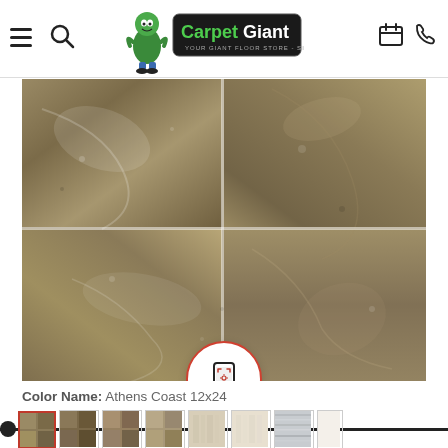[Figure (logo): Carpet Giant logo with cartoon green carpet roll mascot, green and black text reading 'Carpet Giant' with tagline 'YOUR GIANT FLOOR STORE SINCE 1975']
[Figure (photo): Close-up product photo of stone/tile flooring in earthy tan/brown tones laid in a grid pattern, showing multiple tiles with natural variation. A circular AR (augmented reality) button overlay appears at the bottom center.]
Color Name: Athens Coast 12x24
[Figure (photo): Row of flooring product swatches at the bottom of the page showing various colors including brown stone tiles, light beige carpet, cream carpet, gray/white wood-look, and a partial white swatch. First swatch is selected with red border.]